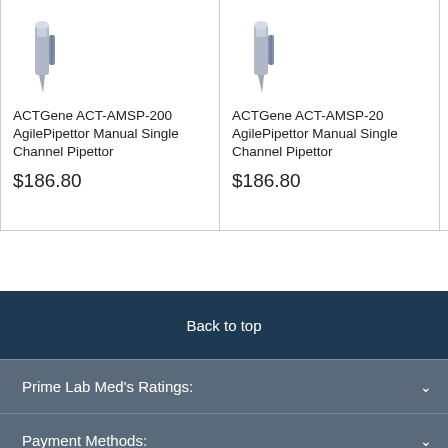[Figure (photo): Partial product card showing pipettor image (cropped at top), product name 'ACTGene ACT-AMSP-200 AgilePipettor Manual Single Channel Pipettor', price $186.80]
[Figure (photo): Product card showing pipettor image (cropped at top), product name 'ACTGene ACT-AMSP-20 AgilePipettor Manual Single Channel Pipettor', price $186.80]
[Figure (photo): Partial third product card showing truncated pipettor image and partial text 'ACT', 'Agile', 'Cha', '$18']
Back to top
Prime Lab Med's Ratings:
Payment Methods:
We Care About Security: